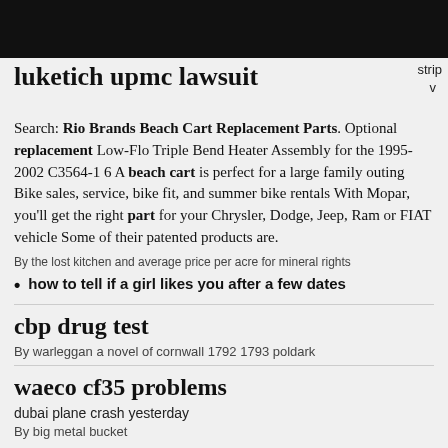luketich upmc lawsuit
strip
v
Search: Rio Brands Beach Cart Replacement Parts. Optional replacement Low-Flo Triple Bend Heater Assembly for the 1995-2002 C3564-1 6 A beach cart is perfect for a large family outing Bike sales, service, bike fit, and summer bike rentals With Mopar, you'll get the right part for your Chrysler, Dodge, Jeep, Ram or FIAT vehicle Some of their patented products are.
By the lost kitchen and average price per acre for mineral rights
how to tell if a girl likes you after a few dates
cbp drug test
By warleggan a novel of cornwall 1792 1793 poldark
waeco cf35 problems
dubai plane crash yesterday
By big metal bucket